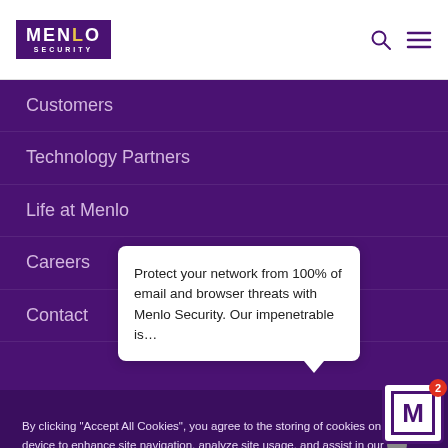[Figure (logo): Menlo Security logo — purple rectangle with white text MENLO and SECURITY below]
Customers
Technology Partners
Life at Menlo
Careers
Contact
By clicking "Accept All Cookies", you agree to the storing of cookies on your device to enhance site navigation, analyze site usage, and assist in our [cookie icon]
Protect your network from 100% of email and browser threats with Menlo Security. Our impenetrable is…